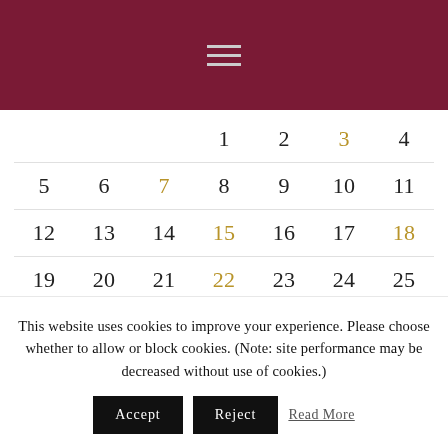[Figure (other): Dark red/maroon header bar with a hamburger menu icon (three horizontal lines) centered.]
|  |  |  | 1 | 2 | 3 | 4 |
| 5 | 6 | 7 | 8 | 9 | 10 | 11 |
| 12 | 13 | 14 | 15 | 16 | 17 | 18 |
| 19 | 20 | 21 | 22 | 23 | 24 | 25 |
This website uses cookies to improve your experience. Please choose whether to allow or block cookies. (Note: site performance may be decreased without use of cookies.)
Accept   Reject   Read More